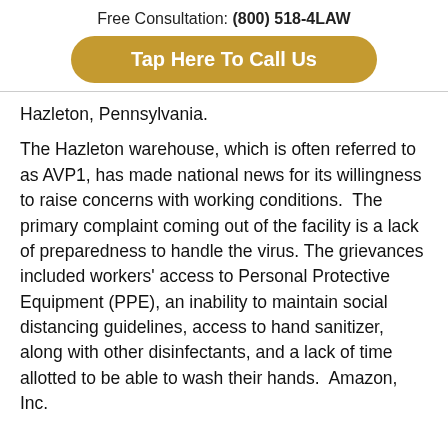Free Consultation: (800) 518-4LAW
Tap Here To Call Us
Hazleton, Pennsylvania.
The Hazleton warehouse, which is often referred to as AVP1, has made national news for its willingness to raise concerns with working conditions.  The primary complaint coming out of the facility is a lack of preparedness to handle the virus. The grievances included workers' access to Personal Protective Equipment (PPE), an inability to maintain social distancing guidelines, access to hand sanitizer, along with other disinfectants, and a lack of time allotted to be able to wash their hands.  Amazon, Inc.